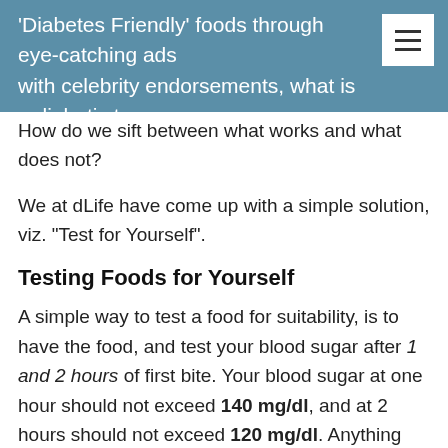'Diabetes Friendly' foods through eye-catching ads with celebrity endorsements, what is a diabetic to
How do we sift between what works and what does not?
We at dLife have come up with a simple solution, viz. "Test for Yourself".
Testing Foods for Yourself
A simple way to test a food for suitability, is to have the food, and test your blood sugar after 1 and 2 hours of first bite. Your blood sugar at one hour should not exceed 140 mg/dl, and at 2 hours should not exceed 120 mg/dl. Anything more, and you can determine that the particular food, in the given